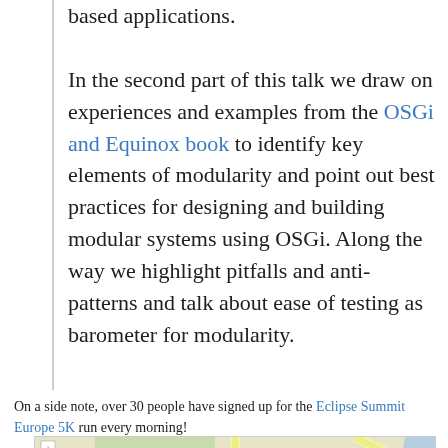based applications. In the second part of this talk we draw on experiences and examples from the OSGi and Equinox book to identify key elements of modularity and point out best practices for designing and building modular systems using OSGi. Along the way we highlight pitfalls and anti-patterns and talk about ease of testing as barometer for modularity.
On a side note, over 30 people have signed up for the Eclipse Summit Europe 5K run every morning!
[Figure (map): Street map showing roads and intersections, partially visible at bottom of page.]